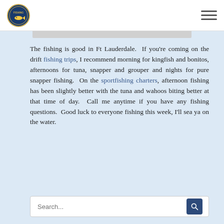[Fishing logo] [hamburger menu]
The fishing is good in Ft Lauderdale.  If you're coming on the drift fishing trips, I recommend morning for kingfish and bonitos, afternoons for tuna, snapper and grouper and nights for pure snapper fishing.  On the sportfishing charters, afternoon fishing has been slightly better with the tuna and wahoos biting better at that time of day.  Call me anytime if you have any fishing questions.  Good luck to everyone fishing this week, I'll sea ya on the water.